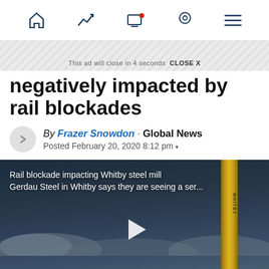Navigation bar with home, trending, notifications, location, and menu icons
This ad will close in 4 seconds  CLOSE X
negatively impacted by rail blockades
By Frazer Snowdon · Global News
Posted February 20, 2020 8:12 pm
[Figure (screenshot): Video thumbnail showing 'Rail blockade impacting Whitby steel mill — Gerdau Steel in Whitby says they are seeing a ser...' with a play button, dark sky with clouds, and a gold vertical post on the right side.]